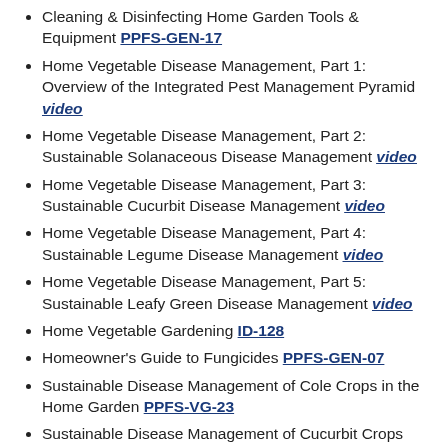Cleaning & Disinfecting Home Garden Tools & Equipment PPFS-GEN-17
Home Vegetable Disease Management, Part 1: Overview of the Integrated Pest Management Pyramid video
Home Vegetable Disease Management, Part 2: Sustainable Solanaceous Disease Management video
Home Vegetable Disease Management, Part 3: Sustainable Cucurbit Disease Management video
Home Vegetable Disease Management, Part 4: Sustainable Legume Disease Management video
Home Vegetable Disease Management, Part 5: Sustainable Leafy Green Disease Management video
Home Vegetable Gardening ID-128
Homeowner's Guide to Fungicides PPFS-GEN-07
Sustainable Disease Management of Cole Crops in the Home Garden PPFS-VG-23
Sustainable Disease Management of Cucurbit Crops